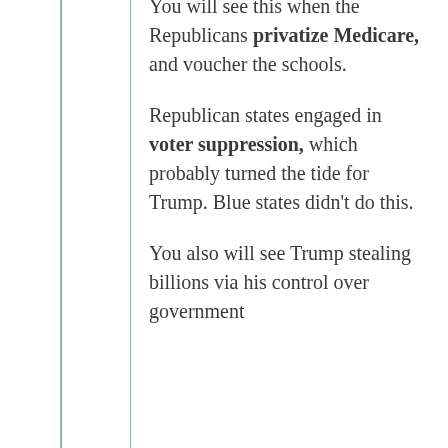You will see this when the Republicans privatize Medicare, and voucher the schools.
Republican states engaged in voter suppression, which probably turned the tide for Trump. Blue states didn't do this.
You also will see Trump stealing billions via his control over government